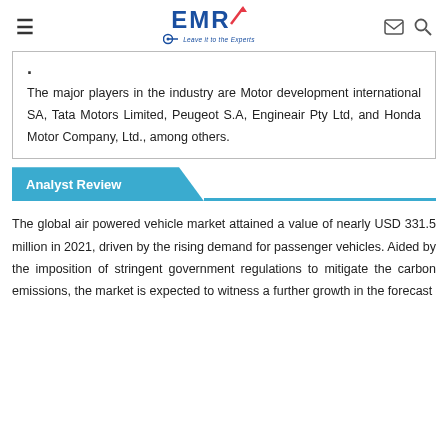EMR - Leave it to the Experts
The major players in the industry are Motor development international SA, Tata Motors Limited, Peugeot S.A, Engineair Pty Ltd, and Honda Motor Company, Ltd., among others.
Analyst Review
The global air powered vehicle market attained a value of nearly USD 331.5 million in 2021, driven by the rising demand for passenger vehicles. Aided by the imposition of stringent government regulations to mitigate the carbon emissions, the market is expected to witness a further growth in the forecast